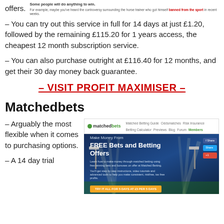offers.
[Figure (screenshot): Small screenshot with text 'Some people will do anything to win. For example, maybe you've heard the controversy surrounding the horse trainer who got himself banned from the sport in recent weeks.']
– You can try out this service in full for 14 days at just £1.20, followed by the remaining £115.20 for 1 years access, the cheapest 12 month subscription service.
– You can also purchase outright at £116.40 for 12 months, and get their 30 day money back guarantee.
– VISIT PROFIT MAXIMISER –
Matchedbets
– Arguably the most flexible when it comes to purchasing options.
– A 14 day trial
[Figure (screenshot): Screenshot of matchedbets website showing 'Make Money From FREE Bets and Betting Offers' hero section with stadium background]